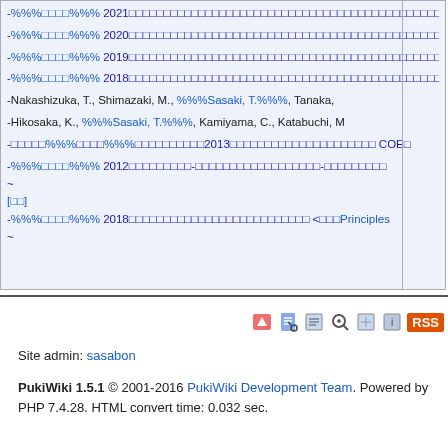-%%%□□□□%%%□2021□□□□□□□□□□□□□□□□□□□□□□□□□□□□□□□□□□□□□□□□□□□□□□□
-%%%□□□□%%%□2020□□□□□□□□□□□□□□□□□□□□□□□□□□□□□□□□□□□□□□□□□□□□□□□
-%%%□□□□%%%□2019□□□□□□□□□□□□□□□□□□□□□□□□□□□□□□□□□□□□□□□□□□□□□□□
-%%%□□□□%%%□2018□□□□□□□□□□□□□□□□□□□□□□□□□□□□□□□□□□□□□□□□□□□□□□□
-Nakashizuka, T., Shimazaki, M., %%%Sasaki, T.%%%, Tanaka,
-Hikosaka, K., %%%Sasaki, T.%%%, Kamiyama, C., Katabuchi, M
-□□□□□%%%□□□□%%%□□□□□□□□□□2013□□□□□□□□□□□□□□□□□□□□□ COE□
-%%%□□□□%%%□2012□□□□□□□□□□-□□□□□□□□□□□□□□□□□□-□□□□□□□□□
~
[□□]
-%%%□□□□%%%□2018□□□□□□□□□□□□□□□□□□□□□□□□□□ <□□□Principles
~
Site admin: sasabon
PukiWiki 1.5.1 © 2001-2016 PukiWiki Development Team. Powered by PHP 7.4.28. HTML convert time: 0.032 sec.